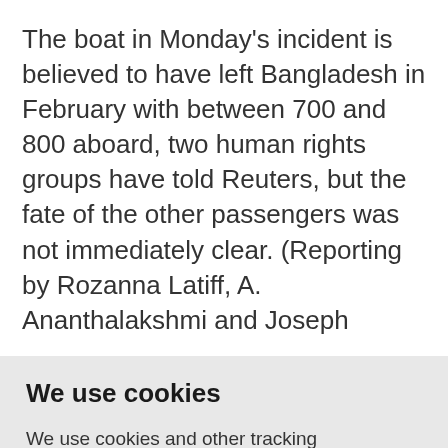The boat in Monday's incident is believed to have left Bangladesh in February with between 700 and 800 aboard, two human rights groups have told Reuters, but the fate of the other passengers was not immediately clear. (Reporting by Rozanna Latiff, A. Ananthalakshmi and Joseph
We use cookies
We use cookies and other tracking technologies to improve your browsing experience on our website, to show you personalized content and targeted ads, to analyze our website traffic, and to understand where our visitors are coming from.